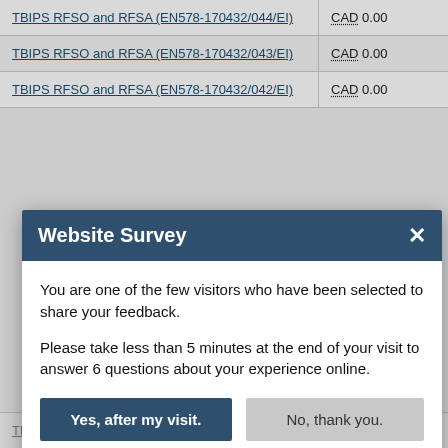| Contract | Amount |
| --- | --- |
| TBIPS RFSO and RFSA (EN578-170432/044/EI) | CAD 0.00 |
| TBIPS RFSO and RFSA (EN578-170432/043/EI) | CAD 0.00 |
| TBIPS RFSO and RFSA (EN578-170432/042/EI) | CAD 0.00 |
| TBIPS RFSO and RFSA (EN578-170432/035/EI) | CAD 0.00 |
Website Survey
You are one of the few visitors who have been selected to share your feedback.
Please take less than 5 minutes at the end of your visit to answer 6 questions about your experience online.
Yes, after my visit.
No, thank you.